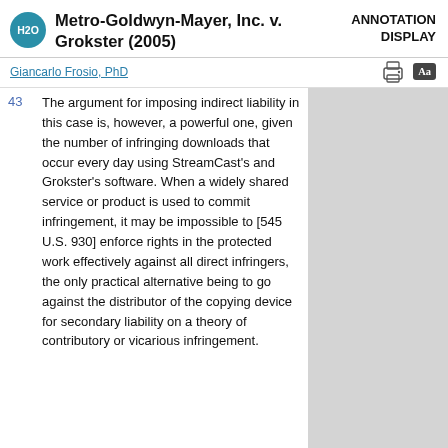Metro-Goldwyn-Mayer, Inc. v. Grokster (2005) | ANNOTATION DISPLAY
Giancarlo Frosio, PhD
43  The argument for imposing indirect liability in this case is, however, a powerful one, given the number of infringing downloads that occur every day using StreamCast's and Grokster's software. When a widely shared service or product is used to commit infringement, it may be impossible to [545 U.S. 930] enforce rights in the protected work effectively against all direct infringers, the only practical alternative being to go against the distributor of the copying device for secondary liability on a theory of contributory or vicarious infringement.